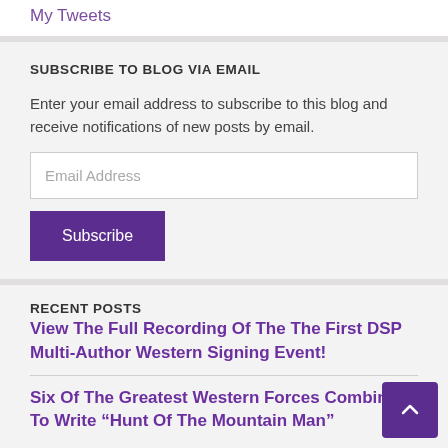My Tweets
SUBSCRIBE TO BLOG VIA EMAIL
Enter your email address to subscribe to this blog and receive notifications of new posts by email.
Email Address
Subscribe
RECENT POSTS
View The Full Recording Of The The First DSP Multi-Author Western Signing Event!
Six Of The Greatest Western Forces Combine To Write “Hunt Of The Mountain Man”